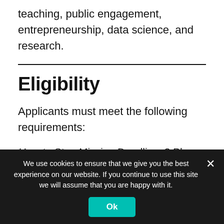teaching, public engagement, entrepreneurship, data science, and research.
Eligibility
Applicants must meet the following requirements:
How to Stop Missing Deadlines? Please Follow our Telegram channel https://t.me/PlopAndreiCom ( @plopandreicom)
[faded row]
We use cookies to ensure that we give you the best experience on our website. If you continue to use this site we will assume that you are happy with it.